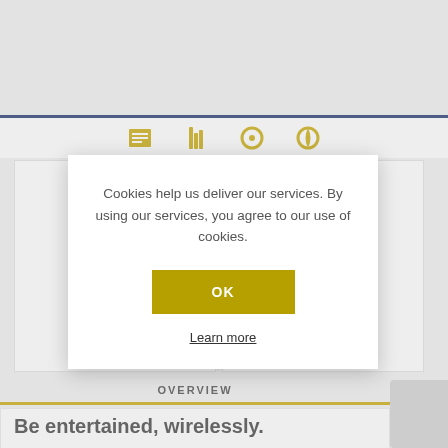[Figure (screenshot): Website screenshot showing a navy blue navigation bar with yellow/gold icons, background content cards, and a cookie consent modal dialog in the foreground.]
Cookies help us deliver our services. By using our services, you agree to our use of cookies.
OK
Learn more
OVERVIEW
Be entertained, wirelessly.